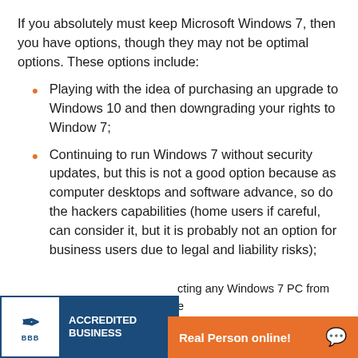If you absolutely must keep Microsoft Windows 7, then you have options, though they may not be optimal options. These options include:
Playing with the idea of purchasing an upgrade to Windows 10 and then downgrading your rights to Window 7;
Continuing to run Windows 7 without security updates, but this is not a good option because as computer desktops and software advance, so do the hackers capabilities (home users if careful, can consider it, but it is probably not an option for business users due to legal and liability risks);
[Figure (logo): BBB Accredited Business badge with blue background and white text]
Real Person online!